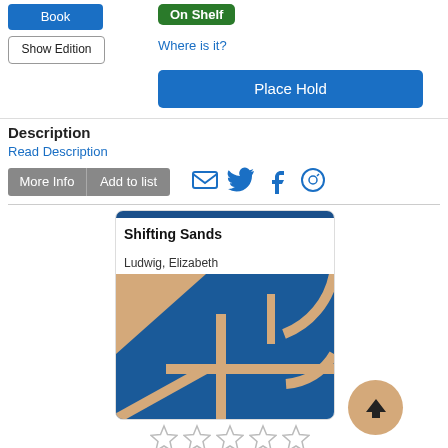Book
Show Edition
On Shelf
Where is it?
Place Hold
Description
Read Description
More Info
Add to list
[Figure (screenshot): Social sharing icons: email, Twitter, Facebook, Pinterest]
[Figure (illustration): Book card for 'Shifting Sands' by Ludwig, Elizabeth with a blue geometric cover design featuring tan/beige triangles and curves]
[Figure (other): Five empty star rating icons]